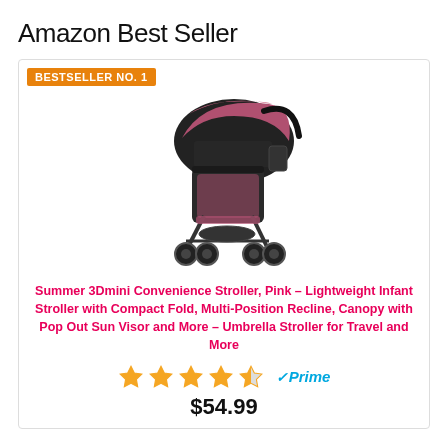Amazon Best Seller
[Figure (infographic): Product card showing a pink and black Summer 3Dmini Convenience Stroller with BESTSELLER NO. 1 badge, product image, title, star rating (4.5 stars), Prime badge, and price of $54.99]
Summer 3Dmini Convenience Stroller, Pink – Lightweight Infant Stroller with Compact Fold, Multi-Position Recline, Canopy with Pop Out Sun Visor and More – Umbrella Stroller for Travel and More
$54.99